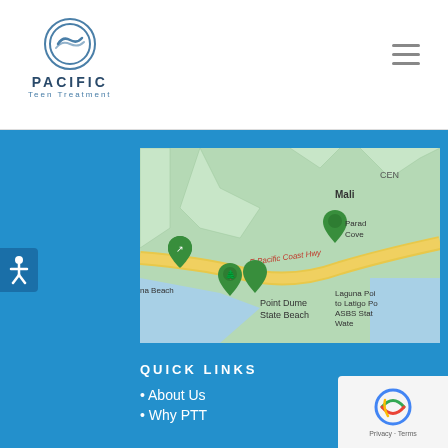[Figure (logo): Pacific Teen Treatment logo with circular wave icon and text 'PACIFIC Teen Treatment']
[Figure (map): Google Maps screenshot showing Malibu area coastline with E Pacific Coast Hwy, Point Dume State Beach, Laguna Point to Latigo Point ASBS State Water, Paradise Cove, and several green map pins]
QUICK LINKS
About Us
Why PTT